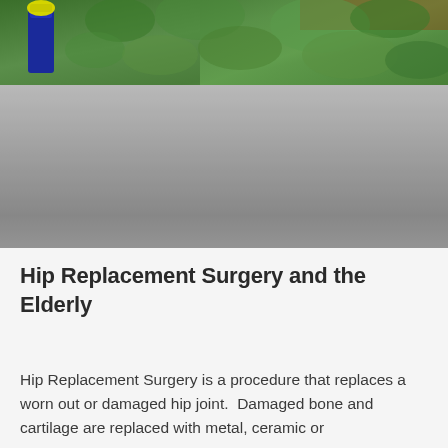[Figure (photo): Photo showing green plants/foliage and what appears to be a blue bottle with yellow top, with a gray/silver lower half that is faded or overexposed]
Hip Replacement Surgery and the Elderly
Hip Replacement Surgery is a procedure that replaces a worn out or damaged hip joint.  Damaged bone and cartilage are replaced with metal, ceramic or